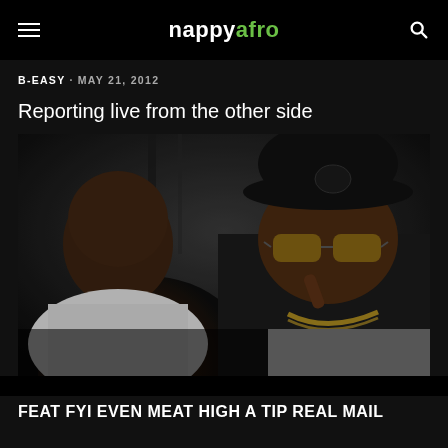nappyafro
B-EASY · MAY 21, 2012
Reporting live from the other side
[Figure (photo): Two men close up, one bald on left in white t-shirt, one on right wearing black cap and gold sunglasses with chain necklace]
FEAT FYI EVEN MEAT HIGH A TIP REAL MAIL